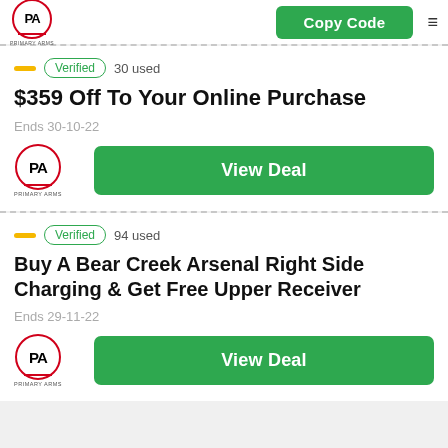[Figure (logo): Primary Arms PA logo with red circle and border]
Copy Code
Verified  30 used
$359 Off To Your Online Purchase
Ends 30-10-22
[Figure (logo): Primary Arms PA logo]
View Deal
Verified  94 used
Buy A Bear Creek Arsenal Right Side Charging & Get Free Upper Receiver
Ends 29-11-22
[Figure (logo): Primary Arms PA logo]
View Deal